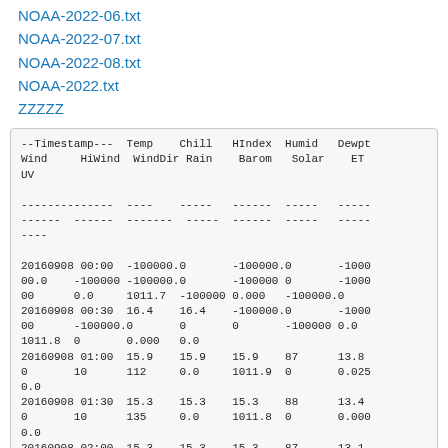NOAA-2022-06.txt
NOAA-2022-07.txt
NOAA-2022-08.txt
NOAA-2022.txt
ZZZZZ
| --Timestamp--- | Temp | Chill | HIndex | Humid | Dewpt | Wind | HiWind | WindDir | Rain | Barom | Solar | ET | UV |
| --- | --- | --- | --- | --- | --- | --- | --- | --- | --- | --- | --- | --- | --- |
| 20160908 00:00 | -100000.0 |  | -100000.0 |  | -100000.0 | -100000.0 | -100000 | -100000.0 |  | -100000 | 0 | -1000000.0 | 1011.7 | -100000 | 0.000 | -100000.0 |
| 20160908 00:30 | 16.4 | 16.4 | -100000.0 | -1000000.0 | -100000.0 | 0 | 0 | -100000 | 0.0 | 1011.8 | 0 | 0.000 | 0.0 |
| 20160908 01:00 | 15.9 | 15.9 | 15.9 | 87 | 13.8 | 0 | 10 | 112 | 0.0 | 1011.9 | 0 | 0.025 | 0.0 |
| 20160908 01:30 | 15.3 | 15.3 | 15.3 | 88 | 13.4 | 0 | 10 | 135 | 0.0 | 1011.8 | 0 | 0.000 | 0.0 |
| 20160908 02:00 | 15.3 | 15.3 | 15.3 | 87 | 13.1 |